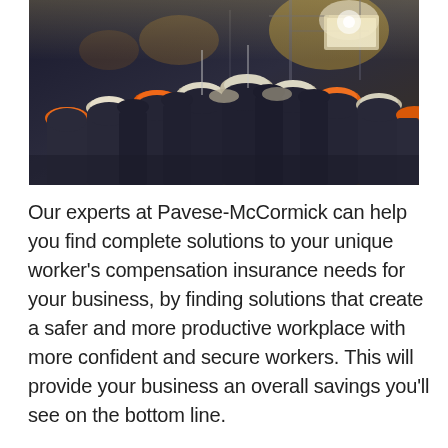[Figure (photo): Group of industrial workers wearing hard hats (orange and white) and dark coveralls, viewed from behind, in a factory or industrial setting with bright lights in the background.]
Our experts at Pavese-McCormick can help you find complete solutions to your unique worker's compensation insurance needs for your business, by finding solutions that create a safer and more productive workplace with more confident and secure workers. This will provide your business an overall savings you'll see on the bottom line.